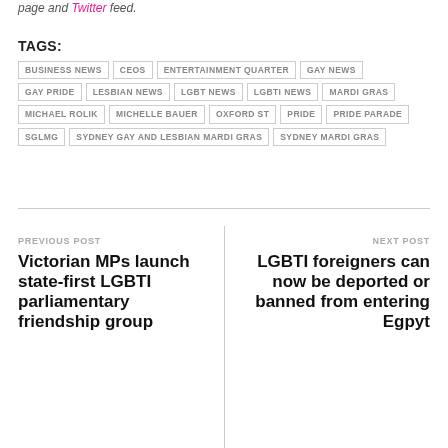page and Twitter feed.
TAGS:
BUSINESS NEWS
CEOS
ENTERTAINMENT QUARTER
GAY NEWS
GAY PRIDE
LESBIAN NEWS
LGBT NEWS
LGBTI NEWS
MARDI GRAS
MICHAEL ROLIK
MICHELLE BAUER
OXFORD ST
PRIDE
PRIDE PARADE
SGLMG
SYDNEY GAY AND LESBIAN MARDI GRAS
SYDNEY MARDI GRAS
PREVIOUS POST
Victorian MPs launch state-first LGBTI parliamentary friendship group
NEXT POST
LGBTI foreigners can now be deported or banned from entering Egpyt